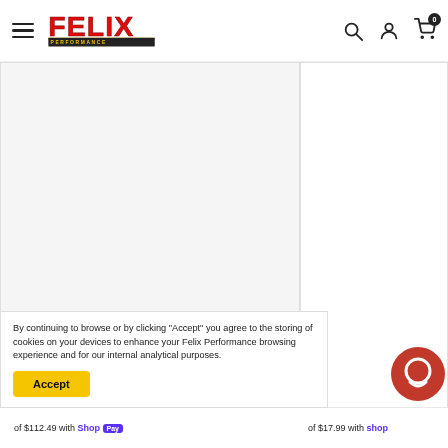Felix Performance — site navigation header with logo, search, account, and cart icons
[Figure (screenshot): Product image area (white/light gray rectangle) — left panel of product page]
[Figure (screenshot): Right side product details panel (white rectangle)]
By continuing to browse or by clicking "Accept" you agree to the storing of cookies on your devices to enhance your Felix Performance browsing experience and for our internal analytical purposes.
Accept
of $112.49 with Shop Pay
of $17.99 with shop